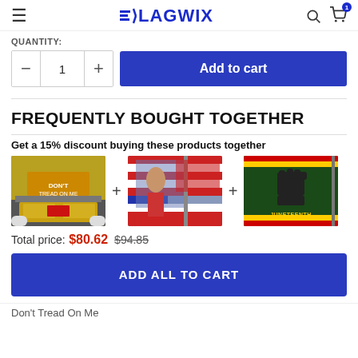FLAGWIX
QUANTITY:
- 1 +
Add to cart
FREQUENTLY BOUGHT TOGETHER
Get a 15% discount buying these products together
[Figure (photo): Three product images: truck with flag tailgate wrap, American flag with woman, and Black power fist green flag, shown in a row with + signs between them]
Total price: $80.62  $94.85
ADD ALL TO CART
Don't Tread On Me